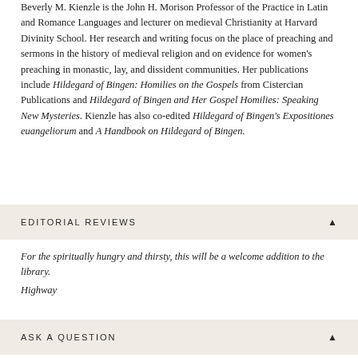Beverly M. Kienzle is the John H. Morison Professor of the Practice in Latin and Romance Languages and lecturer on medieval Christianity at Harvard Divinity School. Her research and writing focus on the place of preaching and sermons in the history of medieval religion and on evidence for women's preaching in monastic, lay, and dissident communities. Her publications include Hildegard of Bingen: Homilies on the Gospels from Cistercian Publications and Hildegard of Bingen and Her Gospel Homilies: Speaking New Mysteries. Kienzle has also co-edited Hildegard of Bingen's Expositiones euangeliorum and A Handbook on Hildegard of Bingen.
EDITORIAL REVIEWS
For the spiritually hungry and thirsty, this will be a welcome addition to the library.
Highway
ASK A QUESTION